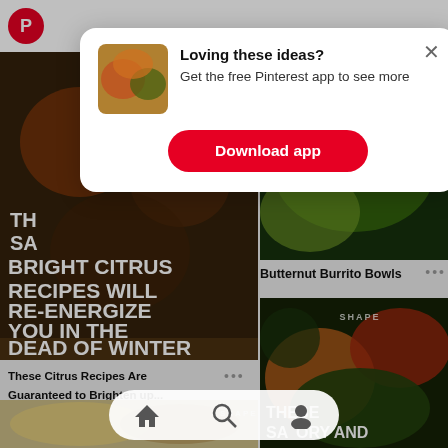[Figure (screenshot): Pinterest app screenshot showing a modal dialog over a feed of food recipe images. Top bar has Pinterest logo and sign-up button. Left column shows a citrus recipes article image with overlay text. Right column shows a butternut burrito bowl image and a colorful salad image. Bottom navigation bar visible.]
Loving these ideas?
Get the free Pinterest app to see more
Download app
TH SA BRIGHT CITRUS RECIPES WILL RE-ENERGIZE YOU IN THE DEAD OF WINTER
These Citrus Recipes Are Guaranteed to Brighten up...
Butternut Burrito Bowls
THESE SAVORY AND BRIGHT CITRUS